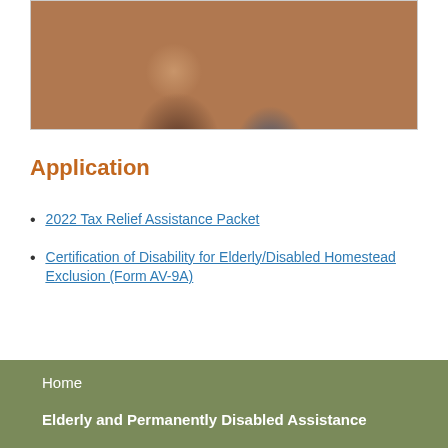[Figure (photo): Two elderly people, one in a floral top and one in a blue sweater, photographed from the shoulders up.]
Application
2022 Tax Relief Assistance Packet
Certification of Disability for Elderly/Disabled Homestead Exclusion (Form AV-9A)
Home
Elderly and Permanently Disabled Assistance